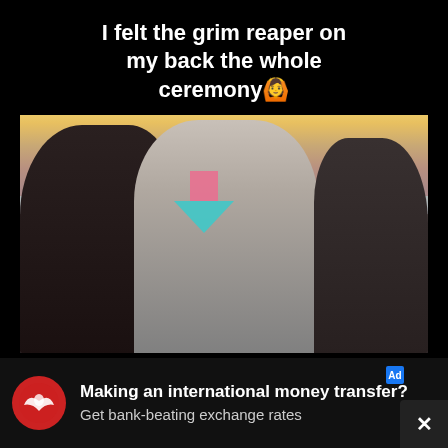I felt the grim reaper on my back the whole ceremony🙆
[Figure (screenshot): Video screenshot of a beach wedding ceremony at sunset. Several people are visible including what appears to be a groom in white on the left, a bride in the center-right area, and an officiant on the right holding a book. A pink/teal download arrow is overlaid in the center of the image.]
Making an international money transfer? Get bank-beating exchange rates